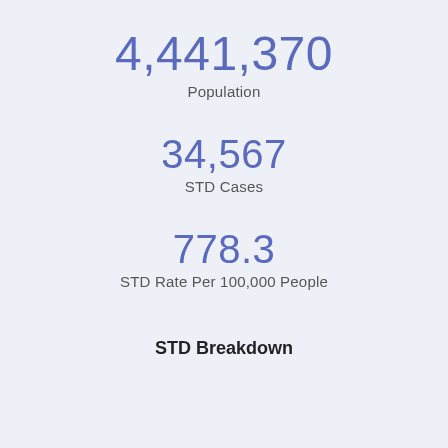4,441,370
Population
34,567
STD Cases
778.3
STD Rate Per 100,000 People
STD Breakdown